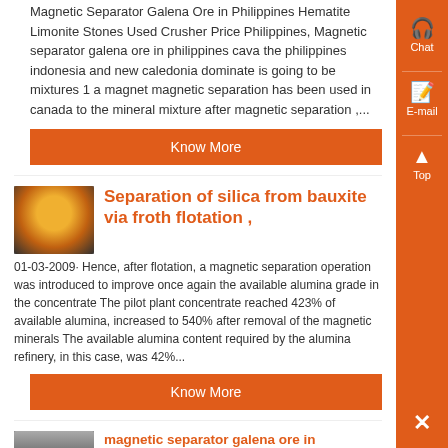Magnetic Separator Galena Ore in Philippines Hematite Limonite Stones Used Crusher Price Philippines, Magnetic separator galena ore in philippines cava the philippines indonesia and new caledonia dominate is going to be mixtures 1 a magnet magnetic separation has been used in canada to the mineral mixture after magnetic separation ,...
Know More
[Figure (photo): Close-up photo of a circular industrial object with yellow/orange center on dark background, resembling a bauxite ore or flotation cell]
Separation of silica from bauxite via froth flotation ,
01-03-2009· Hence, after flotation, a magnetic separation operation was introduced to improve once again the available alumina grade in the concentrate The pilot plant concentrate reached 423% of available alumina, increased to 540% after removal of the magnetic minerals The available alumina content required by the alumina refinery, in this case, was 42%...
Know More
[Figure (photo): Photo of industrial machinery or rail equipment, dark tones]
magnetic separator galena ore in philippines